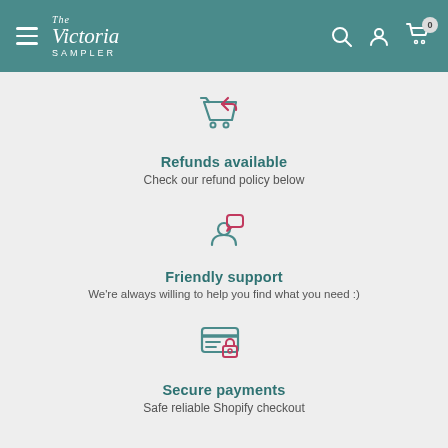The Victoria Sampler
[Figure (illustration): Shopping cart with return arrow icon in teal outline style]
Refunds available
Check our refund policy below
[Figure (illustration): Person with speech bubble icon, person in teal, speech bubble in pink/red]
Friendly support
We're always willing to help you find what you need :)
[Figure (illustration): Credit card with lock icon, card in teal, lock in pink/red]
Secure payments
Safe reliable Shopify checkout